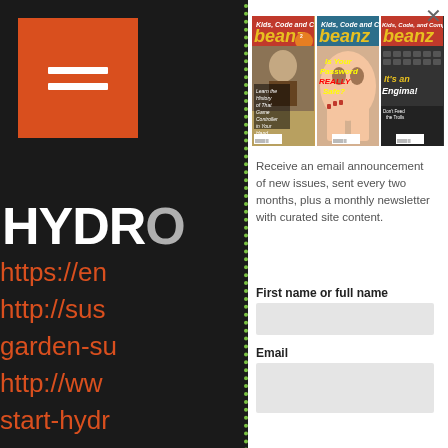[Figure (logo): Orange square logo with two white horizontal bars, hamburger menu style, on dark background]
HYDRO
https://en...
http://sus...
garden-su...
http://ww...
start-hydr...
http://ww...
http://ww...
ag. hydro...
[Figure (photo): Three covers of Beanz magazine - Kids, Code, and Computer Science. First cover: Learn the History of That Game Controller in Your Hand. Second cover: Is Your Password REALLY Safe? Third cover: It's an Enigma!]
Receive an email announcement of new issues, sent every two months, plus a monthly newsletter with curated site content.
First name or full name
Email